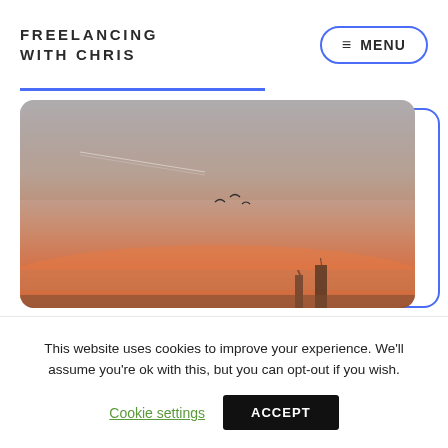FREELANCING WITH CHRIS
≡ MENU
[Figure (photo): Sunset sky with birds in flight and silhouettes of buildings at the horizon, featuring warm orange and pink hues blending into grey-blue tones above.]
This website uses cookies to improve your experience. We'll assume you're ok with this, but you can opt-out if you wish.
Cookie settings   ACCEPT